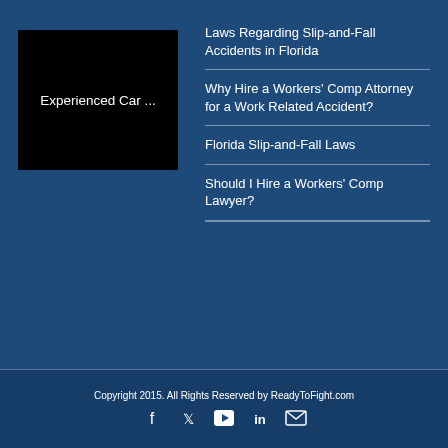[Figure (photo): Black image thumbnail with white text 'Experienced Car ...']
Laws Regarding Slip-and-Fall Accidents in Florida
Why Hire a Workers' Comp Attorney for a Work Related Accident?
Florida Slip-and-Fall Laws
Should I Hire a Workers' Comp Lawyer?
Copyright 2015. All Rights Reserved by ReadyToFight.com